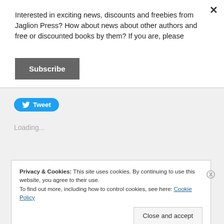Interested in exciting news, discounts and freebies from Jaglion Press? How about news about other authors and free or discounted books by them? If you are, please
Subscribe
[Figure (other): Tweet button with Twitter bird icon]
Loading...
Privacy & Cookies: This site uses cookies. By continuing to use this website, you agree to their use.
To find out more, including how to control cookies, see here: Cookie Policy
Close and accept